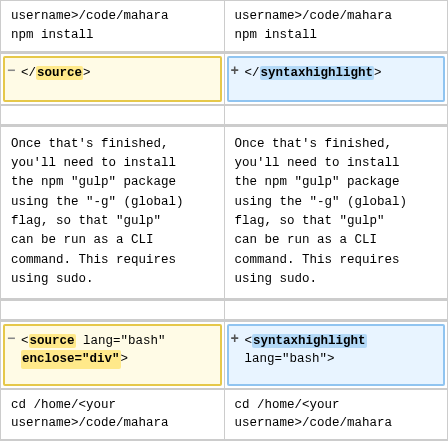username>/code/mahara
npm install
username>/code/mahara
npm install
</source>
</syntaxhighlight>
Once that's finished, you'll need to install the npm "gulp" package using the "-g" (global) flag, so that "gulp" can be run as a CLI command. This requires using sudo.
Once that's finished, you'll need to install the npm "gulp" package using the "-g" (global) flag, so that "gulp" can be run as a CLI command. This requires using sudo.
<source lang="bash" enclose="div">
<syntaxhighlight lang="bash">
cd /home/<your username>/code/mahara
cd /home/<your username>/code/mahara